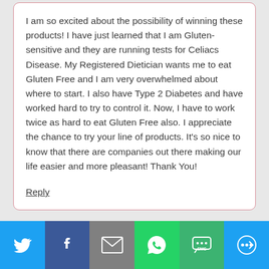I am so excited about the possibility of winning these products! I have just learned that I am Gluten-sensitive and they are running tests for Celiacs Disease. My Registered Dietician wants me to eat Gluten Free and I am very overwhelmed about where to start. I also have Type 2 Diabetes and have worked hard to try to control it. Now, I have to work twice as hard to eat Gluten Free also. I appreciate the chance to try your line of products. It's so nice to know that there are companies out there making our life easier and more pleasant! Thank You!
Reply
[Figure (infographic): Social sharing bar with six buttons: Twitter (blue), Facebook (dark blue), Email (gray), WhatsApp (green), SMS (green), and More/share (blue). Each button shows a white icon.]